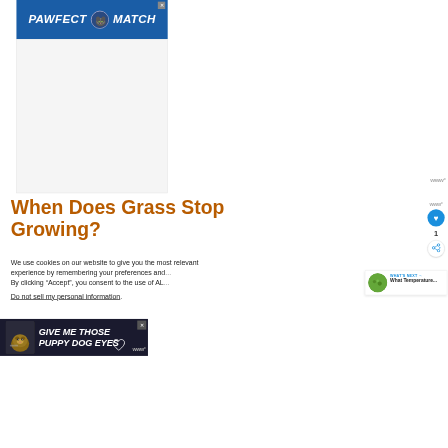[Figure (illustration): Blue banner advertisement for 'PAWFECT MATCH' with a cat face icon in the center, white bold italic text on blue background, close button top right]
[Figure (other): Grey/white empty advertisement placeholder area]
When Does Grass Stop Growing?
We use cookies on our website to give you the most relevant experience by remembering your preferences and... By clicking “Accept”, you consent to the use of AL...
Do not sell my personal information.
[Figure (other): WHAT'S NEXT notification panel with grass thumbnail image and title 'What Temperature...']
[Figure (illustration): Dark bottom banner advertisement with dog image, text 'GIVE ME THOSE PUPPY DOG EYES' in white bold italic, heart icon, close button]